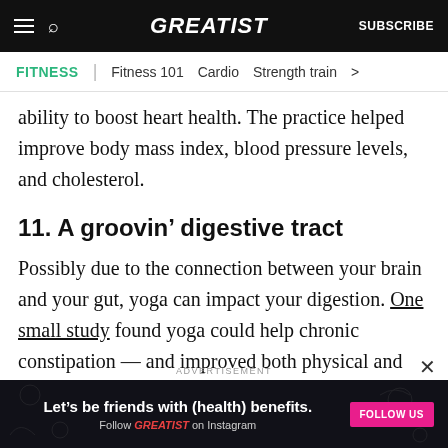GREATIST | SUBSCRIBE
FITNESS | Fitness 101  Cardio  Strength train >
ability to boost heart health. The practice helped improve body mass index, blood pressure levels, and cholesterol.
11. A groovin’ digestive tract
Possibly due to the connection between your brain and your gut, yoga can impact your digestion. One small study found yoga could help chronic constipation — and improved both physical and
ADVERTISEMENT
Let’s be friends with (health) benefits. Follow GREATIST on Instagram  FOLLOW US